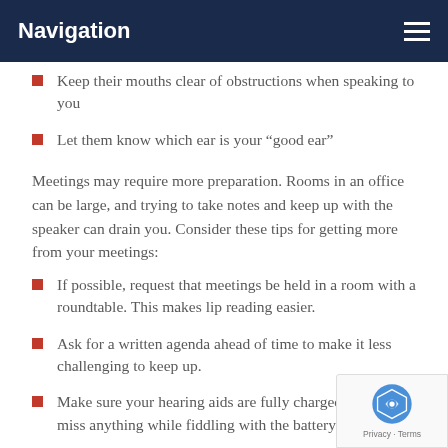Navigation
Keep their mouths clear of obstructions when speaking to you
Let them know which ear is your “good ear”
Meetings may require more preparation. Rooms in an office can be large, and trying to take notes and keep up with the speaker can drain you. Consider these tips for getting more from your meetings:
If possible, request that meetings be held in a room with a roundtable. This makes lip reading easier.
Ask for a written agenda ahead of time to make it less challenging to keep up.
Make sure your hearing aids are fully charged, so not miss anything while fiddling with the battery.